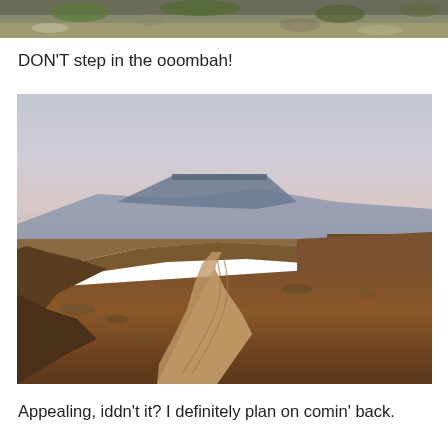[Figure (photo): Partial view of ground with ooombah plant/vegetation, cropped at top of page]
DON'T step in the ooombah!
[Figure (photo): Landscape photo of a dirt trail winding through brown hilly terrain with flat-topped mesa mountains in the background under a hazy sky]
Appealing, iddn't it?  I definitely plan on comin' back.